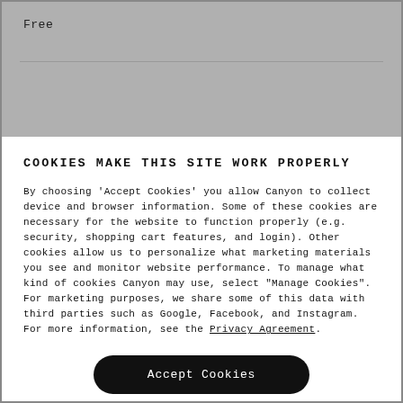Free
COOKIES MAKE THIS SITE WORK PROPERLY
By choosing 'Accept Cookies' you allow Canyon to collect device and browser information. Some of these cookies are necessary for the website to function properly (e.g. security, shopping cart features, and login). Other cookies allow us to personalize what marketing materials you see and monitor website performance. To manage what kind of cookies Canyon may use, select "Manage Cookies". For marketing purposes, we share some of this data with third parties such as Google, Facebook, and Instagram. For more information, see the Privacy Agreement.
Accept Cookies
Manage Cookies